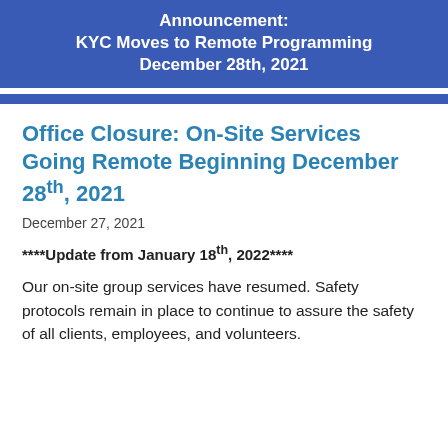Announcement:
KYC Moves to Remote Programming
December 28th, 2021
Office Closure: On-Site Services Going Remote Beginning December 28th, 2021
December 27, 2021
****Update from January 18th, 2022****
Our on-site group services have resumed. Safety protocols remain in place to continue to assure the safety of all clients, employees, and volunteers.